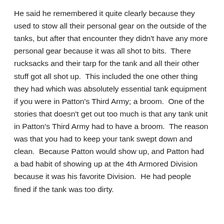He said he remembered it quite clearly because they used to stow all their personal gear on the outside of the tanks, but after that encounter they didn't have any more personal gear because it was all shot to bits.  There rucksacks and their tarp for the tank and all their other stuff got all shot up.  This included the one other thing they had which was absolutely essential tank equipment if you were in Patton's Third Army; a broom.  One of the stories that doesn't get out too much is that any tank unit in Patton's Third Army had to have a broom.  The reason was that you had to keep your tank swept down and clean.  Because Patton would show up, and Patton had a bad habit of showing up at the 4th Armored Division because it was his favorite Division.  He had people fined if the tank was too dirty.